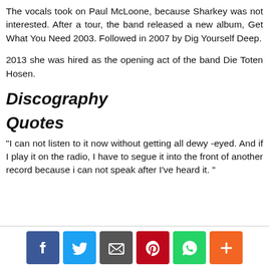The vocals took on Paul McLoone, because Sharkey was not interested. After a tour, the band released a new album, Get What You Need 2003. Followed in 2007 by Dig Yourself Deep.
2013 she was hired as the opening act of the band Die Toten Hosen.
Discography
Quotes
"I can not listen to it now without getting all dewy-eyed. And if I play it on the radio, I have to segue it into the front of another record because i can not speak after I've heard it. "